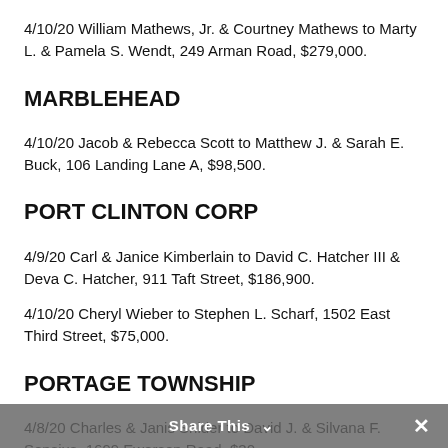4/10/20 William Mathews, Jr. & Courtney Mathews to Marty L. & Pamela S. Wendt, 249 Arman Road, $279,000.
MARBLEHEAD
4/10/20 Jacob & Rebecca Scott to Matthew J. & Sarah E. Buck, 106 Landing Lane A, $98,500.
PORT CLINTON CORP
4/9/20 Carl & Janice Kimberlain to David C. Hatcher III & Deva C. Hatcher, 911 Taft Street, $186,900.
4/10/20 Cheryl Wieber to Stephen L. Scharf, 1502 East Third Street, $75,000.
PORTAGE TOWNSHIP
4/8/20 Charles & Janis Snider to David J. & Silvana F. Sensius, 1699 Ewersen Road, $30,
Share This